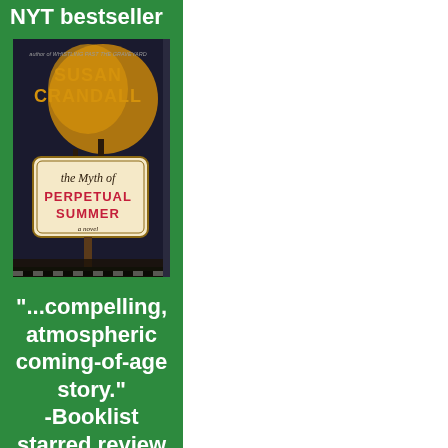NYT bestseller
[Figure (photo): Book cover of 'The Myth of Perpetual Summer' by Susan Crandall, showing a dark atmospheric background with a sign-shaped label displaying the title in red and gold lettering]
"...compelling, atmospheric coming-of-age story." -Booklist starred review